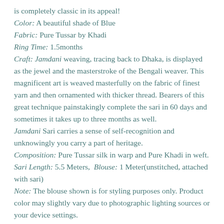is completely classic in its appeal!
Color: A beautiful shade of Blue
Fabric: Pure Tussar by Khadi
Ring Time: 1.5months
Craft: Jamdani weaving, tracing back to Dhaka, is displayed as the jewel and the masterstroke of the Bengali weaver. This magnificent art is weaved masterfully on the fabric of finest yarn and then ornamented with thicker thread. Bearers of this great technique painstakingly complete the sari in 60 days and sometimes it takes up to three months as well.
Jamdani Sari carries a sense of self-recognition and unknowingly you carry a part of heritage.
Composition: Pure Tussar silk in warp and Pure Khadi in weft.
Sari Length: 5.5 Meters,  Blouse: 1 Meter(unstitched, attached with sari)
Note: The blouse shown is for styling purposes only. Product color may slightly vary due to photographic lighting sources or your device settings.